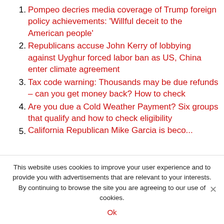1. Pompeo decries media coverage of Trump foreign policy achievements: 'Willful deceit to the American people'
2. Republicans accuse John Kerry of lobbying against Uyghur forced labor ban as US, China enter climate agreement
3. Tax code warning: Thousands may be due refunds – can you get money back? How to check
4. Are you due a Cold Weather Payment? Six groups that qualify and how to check eligibility
5. California Republican Mike Garcia is...
This website uses cookies to improve your user experience and to provide you with advertisements that are relevant to your interests. By continuing to browse the site you are agreeing to our use of cookies.
Ok